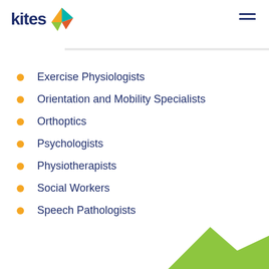[Figure (logo): Kites logo with colorful kite shape and dark blue 'kites' text]
…herapists
Exercise Physiologists
Orientation and Mobility Specialists
Orthoptics
Psychologists
Physiotherapists
Social Workers
Speech Pathologists
[Figure (illustration): Green decorative triangle/kite shape in bottom right corner]